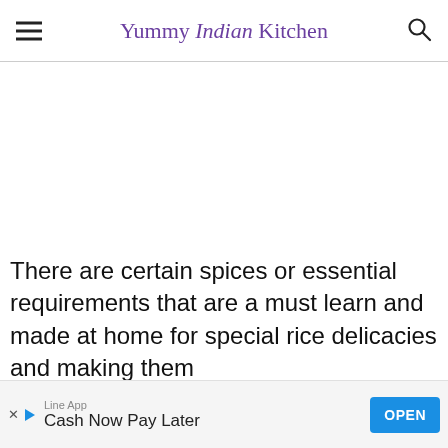Yummy Indian Kitchen
There are certain spices or essential requirements that are a must learn and made at home for special rice delicacies and making them
[Figure (other): Advertisement banner: Line App - Cash Now Pay Later with OPEN button]